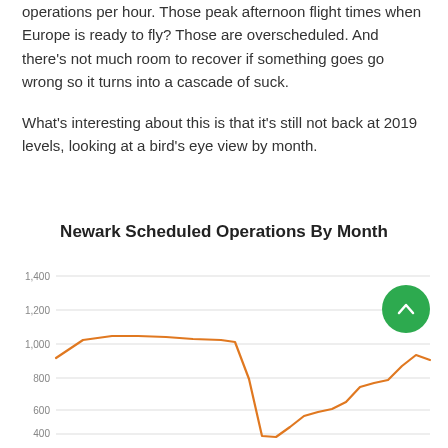operations per hour. Those peak afternoon flight times when Europe is ready to fly? Those are overscheduled. And there's not much room to recover if something goes go wrong so it turns into a cascade of suck.
What's interesting about this is that it's still not back at 2019 levels, looking at a bird's eye view by month.
[Figure (line-chart): Line chart showing Newark scheduled operations by month. The line starts around 1,050, rises to about 1,200, then drops sharply to around 350-400, then gradually recovers to about 1,000-1,050. Y-axis shows values from approximately 200 to 1,400.]